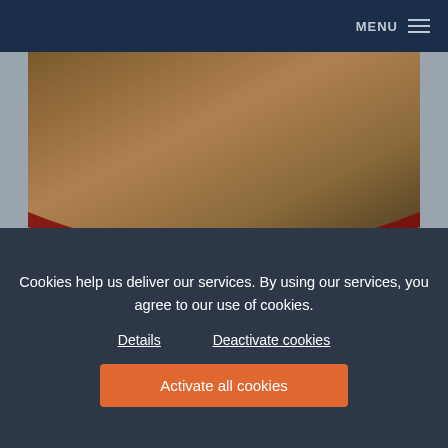MENU
[Figure (illustration): Website screenshot showing a Culinary Alpbachtal card with brownish-tan gradient image area at top with a dark red arc/wave, a blue-gray lower section with the title 'Culinary Alpbachtal', a diamond gem icon, a horizontal divider, and bold text 'Alpbachtal culinary'.]
Cookies help us deliver our services. By using our services, you agree to our use of cookies.
Details    Deactivate cookies
Activate all cookies